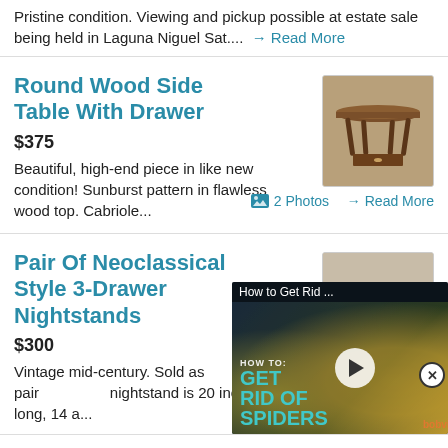Pristine condition. Viewing and pickup possible at estate sale being held in Laguna Niguel Sat.... → Read More
Round Wood Side Table With Drawer
$375
Beautiful, high-end piece in like new condition! Sunburst pattern in flawless wood top. Cabriole... → Read More
[Figure (photo): Round wood side table with drawer, antique brown furniture]
2 Photos
Pair Of Neoclassical Style 3-Drawer Nightstands
$300
Vintage mid-century. Sold as pair nightstand is 20 inches long, 14 a...
[Figure (photo): Pair of neoclassical style 3-drawer nightstands, dark wood]
1 Photo
[Figure (screenshot): Video overlay: How to Get Rid ... HOW TO: GET RID OF SPIDERS with play button, bobvila branding]